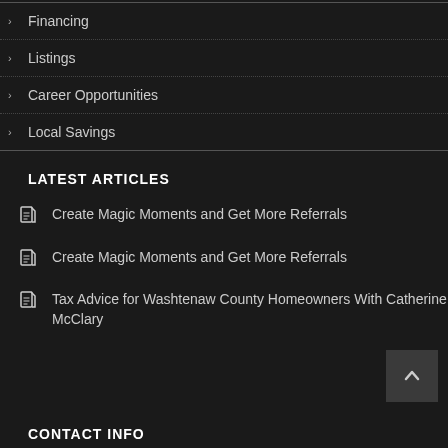Financing
Listings
Career Opportunities
Local Savings
LATEST ARTICLES
Create Magic Moments and Get More Referrals
Create Magic Moments and Get More Referrals
Tax Advice for Washtenaw County Homeowners With Catherine McClary
CONTACT INFO